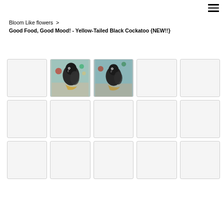☰ (hamburger menu icon)
Bloom Like flowers > Good Food, Good Mood! - Yellow-Tailed Black Cockatoo {NEW!!}
[Figure (photo): Grid of 15 product thumbnail images (3 rows × 5 columns). The 2nd and 3rd thumbnails in the first row show paintings of a Yellow-Tailed Black Cockatoo artwork in a teal/blue painterly style. The remaining 13 thumbnails are empty/blank placeholder boxes.]